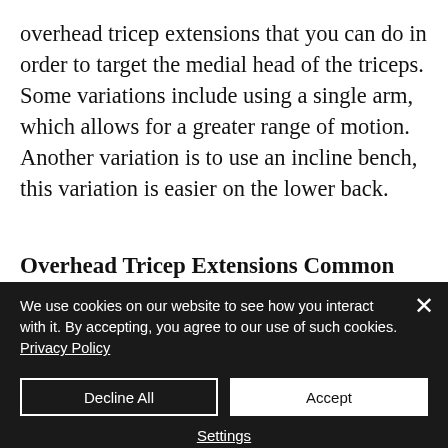overhead tricep extensions that you can do in order to target the medial head of the triceps. Some variations include using a single arm, which allows for a greater range of motion. Another variation is to use an incline bench, this variation is easier on the lower back.
Overhead Tricep Extensions Common Mistakes
When performing overhead tricep
We use cookies on our website to see how you interact with it. By accepting, you agree to our use of such cookies. Privacy Policy
Decline All
Accept
Settings